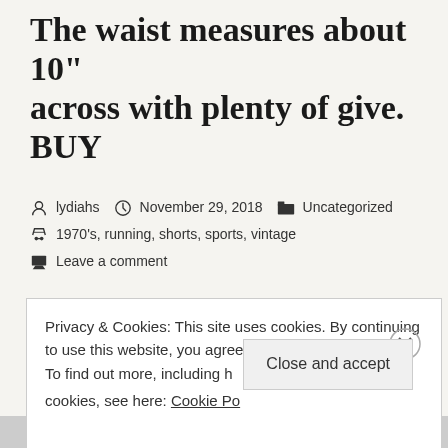The waist measures about 10" across with plenty of give. BUY
lydiahs   November 29, 2018   Uncategorized
1970's, running, shorts, sports, vintage
Leave a comment
Privacy & Cookies: This site uses cookies. By continuing to use this website, you agree to their use.
To find out more, including how to control cookies, see here: Cookie Policy
Close and accept